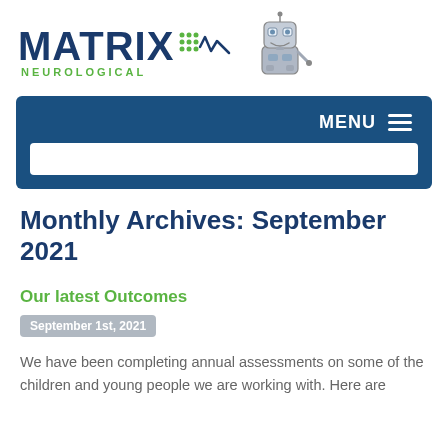[Figure (logo): Matrix Neurological logo with robot mascot — bold navy MATRIX text with green dot-and-wave icon, green NEUROLOGICAL subtitle, and illustrated robot character]
[Figure (screenshot): Dark navy navigation bar with MENU and hamburger icon on the right, and a white search input bar below]
Monthly Archives: September 2021
Our latest Outcomes
September 1st, 2021
We have been completing annual assessments on some of the children and young people we are working with.  Here are